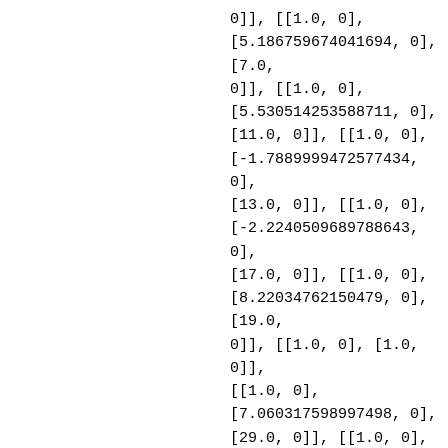0]], [[1.0, 0], [5.186759674041694, 0], [7.0, 0]], [[1.0, 0], [5.530514253588711, 0], [11.0, 0]], [[1.0, 0], [-1.7889999472577434, 0], [13.0, 0]], [[1.0, 0], [-2.2240509689788643, 0], [17.0, 0]], [[1.0, 0], [8.22034762150479, 0], [19.0, 0]], [[1.0, 0], [1.0, 0]], [[1.0, 0], [7.060317598997498, 0], [29.0, 0]], [[1.0, 0], [2.0661192278428087, 0], [31.0, 0]], [[1.0, 0], [5.026308887022811, 0], [37.0, 0]], [[1.0, 0], [11.491665273244545, 0], [41.0, 0]], [[1.0, 0],